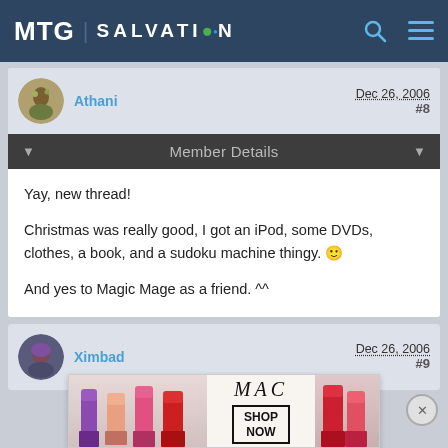MTG SALVATION
Athani   Dec 26, 2006  #8
Member Details
Yay, new thread!

Christmas was really good, I got an iPod, some DVDs, clothes, a book, and a sudoku machine thingy. :)

And yes to Magic Mage as a friend. ^^
Ximbad   Dec 26, 2006  #9
[Figure (photo): MAC cosmetics advertisement with lipsticks, MAC logo, and SHOP NOW button]